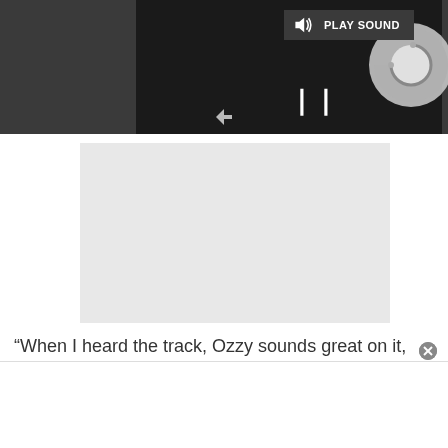[Figure (screenshot): Screenshot of a media player interface with dark top bar, a 'PLAY SOUND' button with speaker icon, a loading/spinning circle animation, a pause button (two vertical bars), and a gray content area below. A quote text is partially visible at the bottom: “When I heard the track, Ozzy sounds great on it,”]
“When I heard the track, Ozzy sounds great on it,